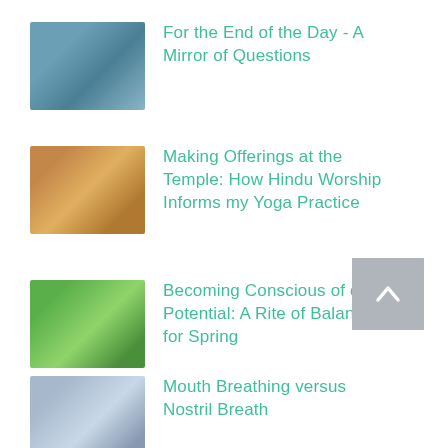For the End of the Day - A Mirror of Questions
Making Offerings at the Temple: How Hindu Worship Informs my Yoga Practice
Becoming Conscious of our Potential: A Rite of Balance for Spring
Mouth Breathing versus Nostril Breath